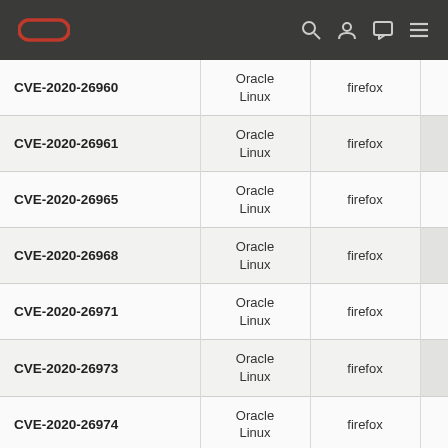Oracle navigation bar with logo and icons
| CVE | OS | Package |  |
| --- | --- | --- | --- |
| CVE-2020-26960 | Oracle Linux | firefox |  |
| CVE-2020-26961 | Oracle Linux | firefox |  |
| CVE-2020-26965 | Oracle Linux | firefox |  |
| CVE-2020-26968 | Oracle Linux | firefox |  |
| CVE-2020-26971 | Oracle Linux | firefox |  |
| CVE-2020-26973 | Oracle Linux | firefox |  |
| CVE-2020-26974 | Oracle Linux | firefox |  |
| CVE-2020-26978 | Oracle Linux | firefox |  |
| CVE-2020-35111 | Oracle Linux | firefox |  |
| CVE-2020-35113 | Oracle Linux | firefox |  |